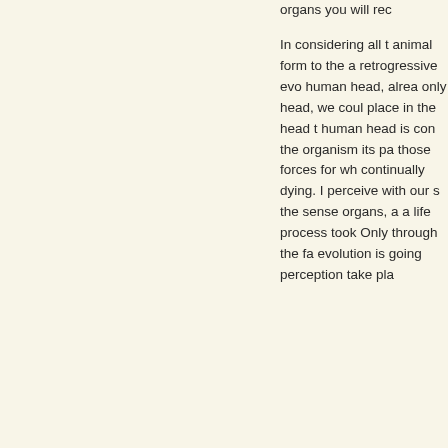organs you will rec...
In considering all t... animal form to the... a retrogressive evo... human head, alrea... only head, we coul... place in the head t... human head is con... the organism its pa... those forces for wh... continually dying. I... perceive with our s... the sense organs, a... a life process took... Only through the fa... evolution is going... perception take pla...